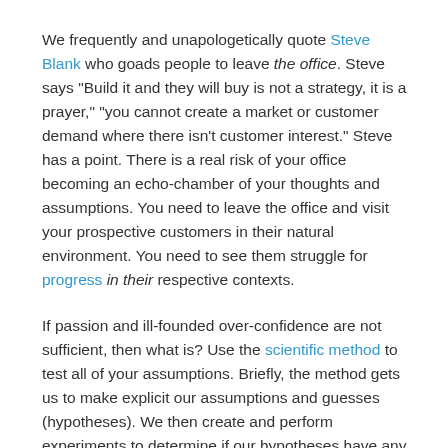We frequently and unapologetically quote Steve Blank who goads people to leave the office. Steve says "Build it and they will buy is not a strategy, it is a prayer," "you cannot create a market or customer demand where there isn't customer interest." Steve has a point. There is a real risk of your office becoming an echo-chamber of your thoughts and assumptions. You need to leave the office and visit your prospective customers in their natural environment. You need to see them struggle for progress in their respective contexts.
If passion and ill-founded over-confidence are not sufficient, then what is? Use the scientific method to test all of your assumptions. Briefly, the method gets us to make explicit our assumptions and guesses (hypotheses). We then create and perform experiments to determine if our hypotheses have any validity. See the Build, Measure, Learn Loop